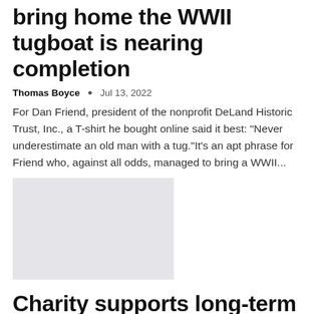bring home the WWII tugboat is nearing completion
Thomas Boyce • Jul 13, 2022
For Dan Friend, president of the nonprofit DeLand Historic Trust, Inc., a T-shirt he bought online said it best: "Never underestimate an old man with a tug."It's an apt phrase for Friend who, against all odds, managed to bring a WWII...
[Figure (photo): Gray placeholder image for article thumbnail]
Charity supports long-term employment prospects of